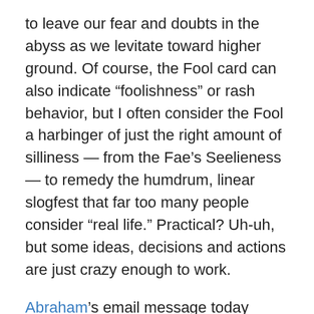to leave our fear and doubts in the abyss as we levitate toward higher ground. Of course, the Fool card can also indicate “foolishness” or rash behavior, but I often consider the Fool a harbinger of just the right amount of silliness — from the Fae’s Seelieness — to remedy the humdrum, linear slogfest that far too many people consider “real life.” Practical? Uh-uh, but some ideas, decisions and actions are just crazy enough to work.
Abraham’s email message today jumped out as David as one for me. For weeks David has listened to me try to discern which fruit trees to order when, to go in which spots, and can I really believe that if I agree to plant the highly fragrant dwarf lilac tree and 50 lilies, then my “garden muse” will see to it that I won’t have any spring allergies? As my non-faery believing brother said